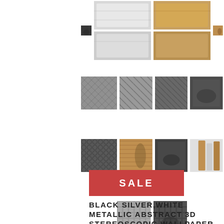[Figure (photo): Grid of product thumbnail images showing wallpaper samples in dark metallic, white/marble, tan/wood, and silver/gray patterns arranged in 4 rows of 4 images each, plus a bottom row with 2 images]
[Figure (other): Red sale badge with white SALE text]
BLACK SILVER,WHITE METALLIC ABSTRACT 3D STEREOSCOPIC WALLPAPER MODERN GEOMETRIC VINYL